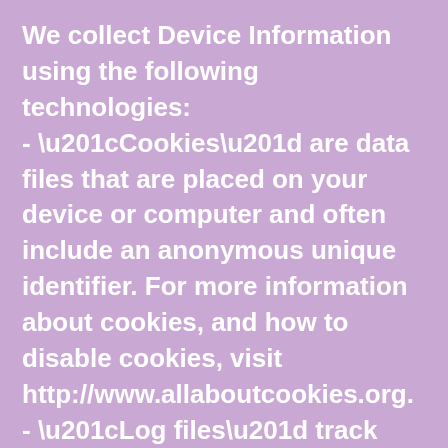We collect Device Information using the following technologies:
- “Cookies” are data files that are placed on your device or computer and often include an anonymous unique identifier. For more information about cookies, and how to disable cookies, visit http://www.allaboutcookies.org.
- “Log files” track actions occurring on the Site, and collect data including your IP address, browser type, Internet service provider, referring/exit pages, and date/time stamps.
- “Web beacons” “tags” and “pixels” are